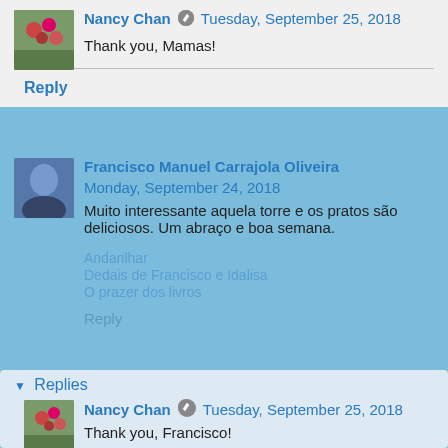Nancy Chan  Tuesday, September 25, 2018
Thank you, Mamas!
Reply
Francisco Manuel Carrajola Oliveira  Monday, September 24, 2018
Muito interessante aquela torre e os pratos são deliciosos. Um abraço e boa semana.
Andarilhar
Dedais de Francisco e Idalisa
O prazer dos livros
Reply
Replies
Nancy Chan  Tuesday, September 25, 2018
Thank you, Francisco!